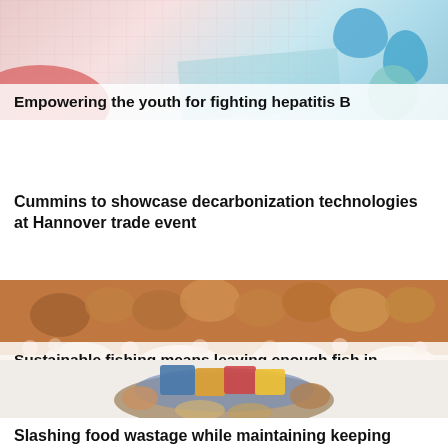[Figure (photo): Photo of medical/science materials including what appears to be a pink/red object, grid background, and blue oval/round shapes resembling pills or medical items]
Empowering the youth for fighting hepatitis B
Cummins to showcase decarbonization technologies at Hannover trade event
[Figure (photo): Underwater photo of coral reef showing orange and pink coral formations]
Sustainable fishing means leaving enough fish in oceans
[Figure (photo): Photo of various food products and packages]
Slashing food wastage while maintaining keeping things healthy, tasty and creative